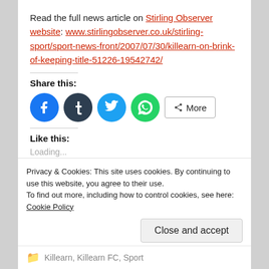Read the full news article on Stirling Observer website: www.stirlingobserver.co.uk/stirling-sport/sport-news-front/2007/07/30/killearn-on-brink-of-keeping-title-51226-19542742/
Share this:
[Figure (other): Social share buttons: Facebook, Tumblr, Twitter, WhatsApp, and More button]
Like this:
Loading...
Privacy & Cookies: This site uses cookies. By continuing to use this website, you agree to their use.
To find out more, including how to control cookies, see here: Cookie Policy
Killearn, Killearn FC, Sport